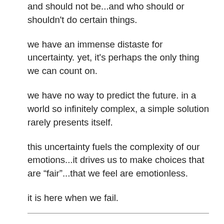and should not be...and who should or shouldn't do certain things.
we have an immense distaste for uncertainty. yet, it's perhaps the only thing we can count on.
we have no way to predict the future. in a world so infinitely complex, a simple solution rarely presents itself.
this uncertainty fuels the complexity of our emotions...it drives us to make choices that are “fair”...that we feel are emotionless.
it is here when we fail.